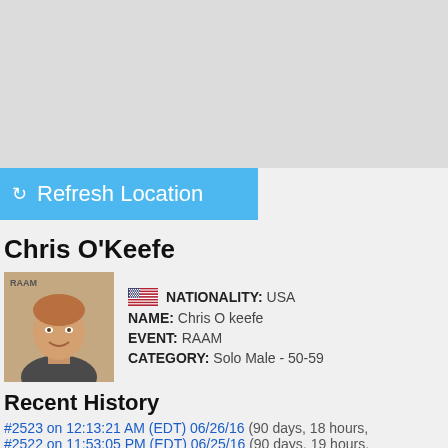[Figure (map): Gray map area background]
Refresh Location
Chris O'Keefe
[Figure (photo): Profile photo of Chris O'Keefe, a smiling man]
NATIONALITY: USA
NAME: Chris O keefe
EVENT: RAAM
CATEGORY: Solo Male - 50-59
Recent History
#2523 on 12:13:21 AM (EDT) 06/26/16 (90 days, 18 hours,
#2522 on 11:53:05 PM (EDT) 06/25/16 (90 days, 19 hours,